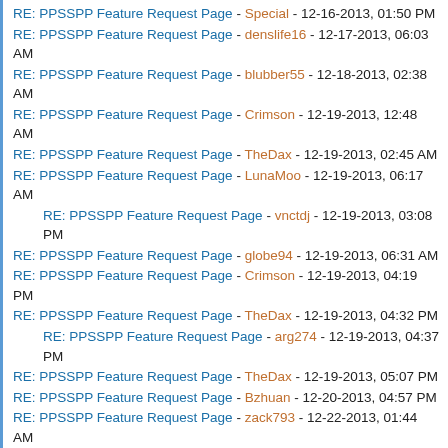RE: PPSSPP Feature Request Page - Special - 12-16-2013, 01:50 PM
RE: PPSSPP Feature Request Page - denslife16 - 12-17-2013, 06:03 AM
RE: PPSSPP Feature Request Page - blubber55 - 12-18-2013, 02:38 AM
RE: PPSSPP Feature Request Page - Crimson - 12-19-2013, 12:48 AM
RE: PPSSPP Feature Request Page - TheDax - 12-19-2013, 02:45 AM
RE: PPSSPP Feature Request Page - LunaMoo - 12-19-2013, 06:17 AM
RE: PPSSPP Feature Request Page - vnctdj - 12-19-2013, 03:08 PM
RE: PPSSPP Feature Request Page - globe94 - 12-19-2013, 06:31 AM
RE: PPSSPP Feature Request Page - Crimson - 12-19-2013, 04:19 PM
RE: PPSSPP Feature Request Page - TheDax - 12-19-2013, 04:32 PM
RE: PPSSPP Feature Request Page - arg274 - 12-19-2013, 04:37 PM
RE: PPSSPP Feature Request Page - TheDax - 12-19-2013, 05:07 PM
RE: PPSSPP Feature Request Page - Bzhuan - 12-20-2013, 04:57 PM
RE: PPSSPP Feature Request Page - zack793 - 12-22-2013, 01:44 AM
RE: PPSSPP Feature Request Page - molebdynum - 12-22-2013, 05:45 AM
RE: PPSSPP Feature Request Page - globe94 - 12-22-2013, 06:55 AM
RE: PPSSPP Feature Request Page - takeshineale88 - 12-22-2013, 02:06 PM
RE: PPSSPP Feature Request Page - BlackGTNinja - 12-23-2013, 02:20 AM